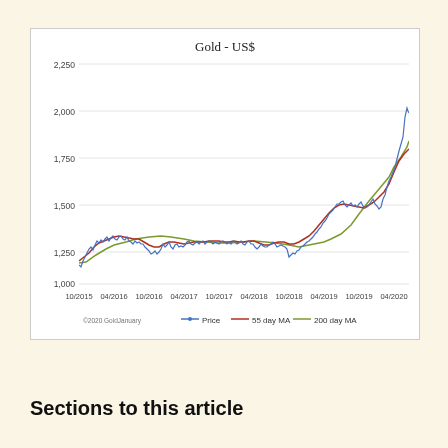[Figure (continuous-plot): Line chart showing gold price in US$ from 10/2015 to mid-2020, with three series: Price (blue), 55 day MA (red), and 200 day MA (green). Price ranges from ~1,050 to ~2,050, with general upward trend, notable spike near mid-2020 approaching 2,050.]
Sections to this article